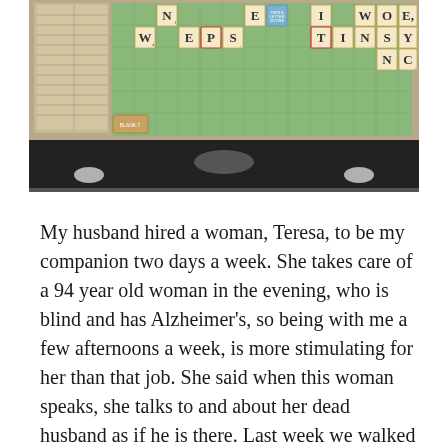[Figure (photo): A photograph of a Scrabble board game in progress, showing tiles arranged on a wooden board. Visible words include N, WEPS, E, TIN, I, WOE, SYNC and other letter tiles. The board is on a dark surface with a glass/screen reflection visible at the bottom.]
My husband hired a woman, Teresa, to be my companion two days a week. She takes care of a 94 year old woman in the evening, who is blind and has Alzheimer's, so being with me a few afternoons a week, is more stimulating for her than that job. She said when this woman speaks, she talks to and about her dead husband as if he is there. Last week we walked a mile and half. She came last Tuesday (as she did again today), and it was freezing cold outside, and we stayed inside. We stayed inside again today. My yoga teacher,